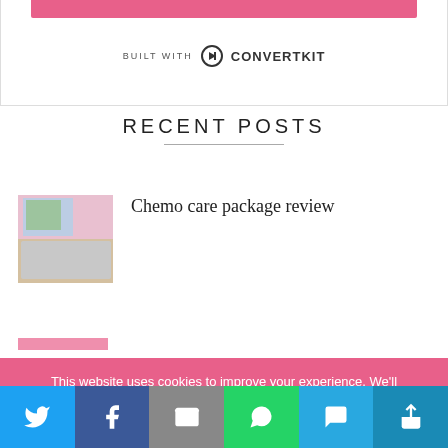[Figure (screenshot): Pink bar at top of a form widget with ConvertKit branding below]
BUILT WITH ConvertKit
RECENT POSTS
[Figure (photo): Thumbnail image showing a chemo care package with colorful items and socks]
Chemo care package review
This website uses cookies to improve your experience. We'll assume you're ok with this, but you can opt-out if you wish.
[Figure (screenshot): Social share bar with Twitter, Facebook, Email, WhatsApp, SMS, and More buttons]